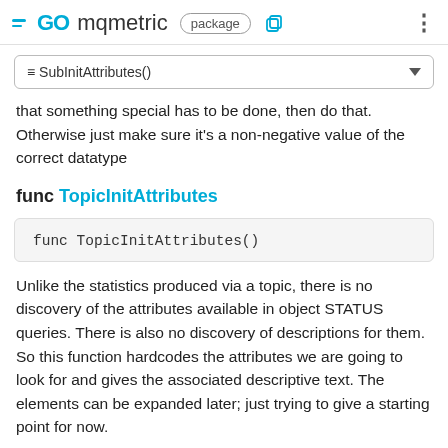GO mqmetric package
≡ SubInitAttributes()
that something special has to be done, then do that. Otherwise just make sure it's a non-negative value of the correct datatype
func TopicInitAttributes
func TopicInitAttributes()
Unlike the statistics produced via a topic, there is no discovery of the attributes available in object STATUS queries. There is also no discovery of descriptions for them. So this function hardcodes the attributes we are going to look for and gives the associated descriptive text. The elements can be expanded later; just trying to give a starting point for now.